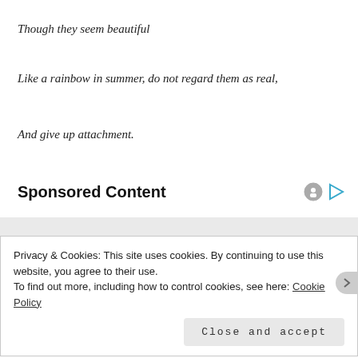Though they seem beautiful
Like a rainbow in summer, do not regard them as real,
And give up attachment.
Sponsored Content
[Figure (illustration): Sponsored content banner with cartoon illustration showing 'Voteland' character and a newspaper called 'Voteland Post']
Privacy & Cookies: This site uses cookies. By continuing to use this website, you agree to their use.
To find out more, including how to control cookies, see here: Cookie Policy